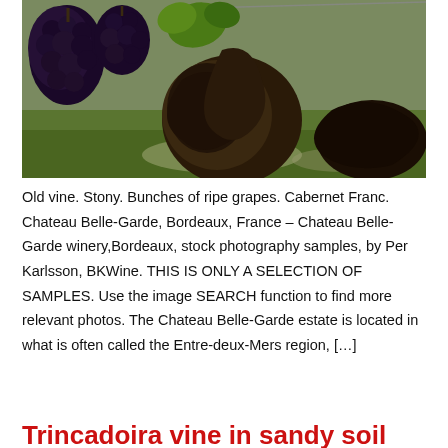[Figure (photo): Photograph of an old gnarled vine trunk with bunches of ripe dark grapes (Cabernet Franc) hanging on the left, green foliage, and a grassy stony vineyard background. Chateau Belle-Garde, Bordeaux, France.]
Old vine. Stony. Bunches of ripe grapes. Cabernet Franc. Chateau Belle-Garde, Bordeaux, France – Chateau Belle-Garde winery,Bordeaux, stock photography samples, by Per Karlsson, BKWine. THIS IS ONLY A SELECTION OF SAMPLES. Use the image SEARCH function to find more relevant photos. The Chateau Belle-Garde estate is located in what is often called the Entre-deux-Mers region, […]
Trincadoira vine in sandy soil